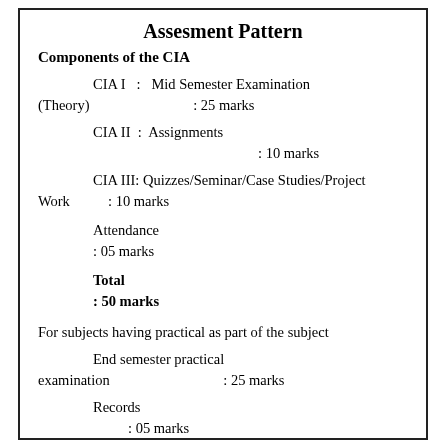Assesment Pattern
Components of the CIA
CIA I  :  Mid Semester Examination (Theory)                : 25 marks
CIA II  :  Assignments                                        : 10 marks
CIA III: Quizzes/Seminar/Case Studies/Project Work       : 10 marks
Attendance
: 05 marks
Total
: 50 marks
For subjects having practical as part of the subject
End semester practical examination                    : 25 marks
Records
: 05 marks